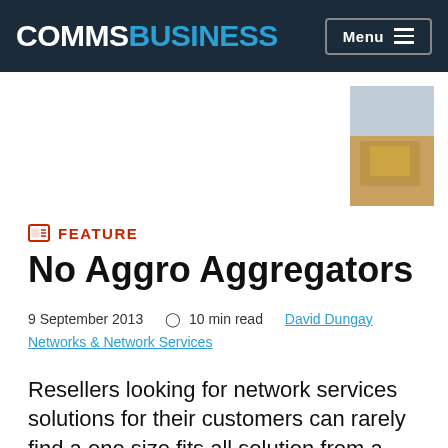COMMSBUSINESS   Menu
[Figure (photo): NEC advertisement thumbnail image showing a partial product photo with NEC logo]
FEATURE
No Aggro Aggregators
9 September 2013   10 min read   David Dungay   Networks & Network Services
Resellers looking for network services solutions for their customers can rarely find a one size fits all solution from a single vendor and as a result f